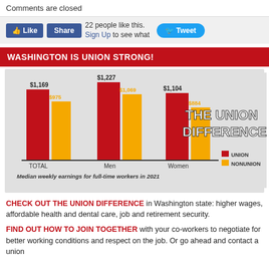Comments are closed
[Figure (other): Facebook Like and Share buttons, Tweet button, social sharing bar]
WASHINGTON IS UNION STRONG!
[Figure (grouped-bar-chart): THE UNION DIFFERENCE]
CHECK OUT THE UNION DIFFERENCE in Washington state: higher wages, affordable health and dental care, job and retirement security.
FIND OUT HOW TO JOIN TOGETHER with your co-workers to negotiate for better working conditions and respect on the job. Or go ahead and contact a union